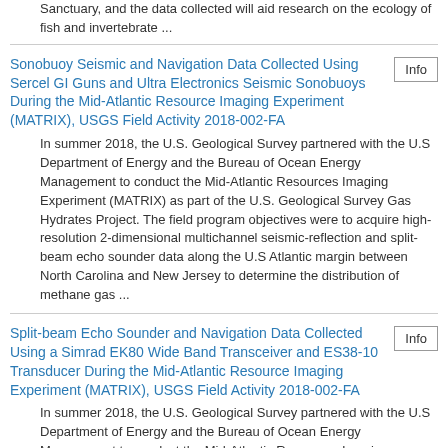Sanctuary, and the data collected will aid research on the ecology of fish and invertebrate ...
Sonobuoy Seismic and Navigation Data Collected Using Sercel GI Guns and Ultra Electronics Seismic Sonobuoys During the Mid-Atlantic Resource Imaging Experiment (MATRIX), USGS Field Activity 2018-002-FA
In summer 2018, the U.S. Geological Survey partnered with the U.S Department of Energy and the Bureau of Ocean Energy Management to conduct the Mid-Atlantic Resources Imaging Experiment (MATRIX) as part of the U.S. Geological Survey Gas Hydrates Project. The field program objectives were to acquire high-resolution 2-dimensional multichannel seismic-reflection and split-beam echo sounder data along the U.S Atlantic margin between North Carolina and New Jersey to determine the distribution of methane gas ...
Split-beam Echo Sounder and Navigation Data Collected Using a Simrad EK80 Wide Band Transceiver and ES38-10 Transducer During the Mid-Atlantic Resource Imaging Experiment (MATRIX), USGS Field Activity 2018-002-FA
In summer 2018, the U.S. Geological Survey partnered with the U.S Department of Energy and the Bureau of Ocean Energy Management to conduct the Mid-Atlantic Resources Imaging Experiment (MATRIX) as part of the U.S. Geological